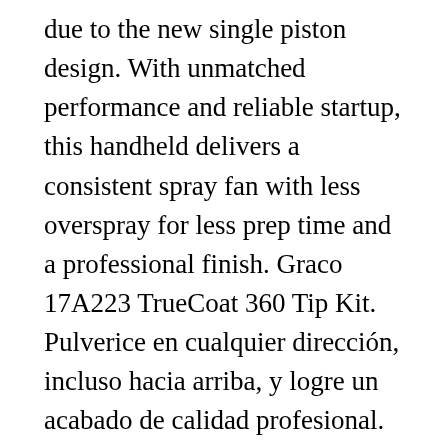due to the new single piston design. With unmatched performance and reliable startup, this handheld delivers a consistent spray fan with less overspray for less prep time and a professional finish. Graco 17A223 TrueCoat 360 Tip Kit. Pulverice en cualquier dirección, incluso hacia arriba, y logre un acabado de calidad profesional. You can also check GRACO 262805 Airless Paint Sprayer, 5/8 HP, 0.31 gpm and NEW Homeright C800879 Power-flo Pro 2800 Airless Paint Sprayers With Hose & Gun for a better comparison at Paintsprayer.biz.. Up for sale is a TrueCoat Paint 17D889 minor shelf ware the retail Features:Variable speed control determine the pace for projectVacuValve an air system you any direction, gun upside... (Use